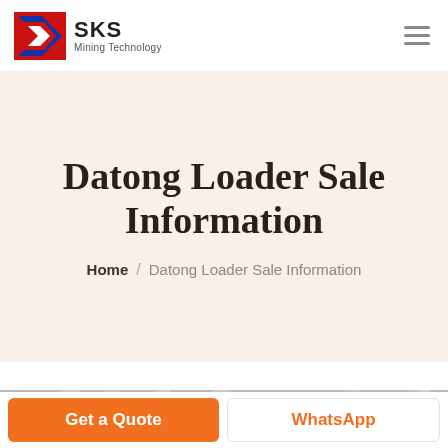[Figure (logo): SKS Mining Technology logo with red and blue angular S-shaped icon and text 'SKS Mining Technology']
Datong Loader Sale Information
Home / Datong Loader Sale Information
[Figure (illustration): Teal live chat speech bubble icon with text 'LIVE CHAT']
[Figure (photo): Partial gray building/industrial photo strip]
Get a Quote
WhatsApp